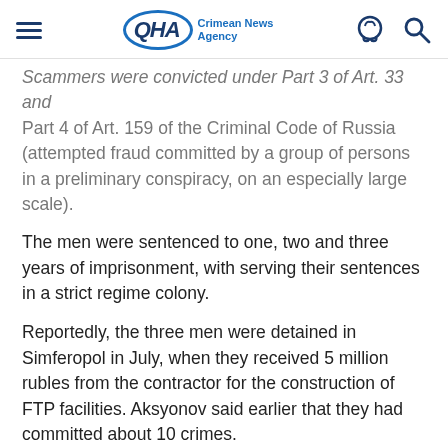QHA Crimean News Agency
Scammers were convicted under Part 3 of Art. 33 and Part 4 of Art. 159 of the Criminal Code of Russia (attempted fraud committed by a group of persons in a preliminary conspiracy, on an especially large scale).
The men were sentenced to one, two and three years of imprisonment, with serving their sentences in a strict regime colony.
Reportedly, the three men were detained in Simferopol in July, when they received 5 million rubles from the contractor for the construction of FTP facilities. Aksyonov said earlier that they had committed about 10 crimes.
Previously, a fraudster from Novosibirsk extracted about 1.3 million rubles from a 15-year-old teenager from the annexed Crimea via online roulette. The teenager took the money without permission from his father. The